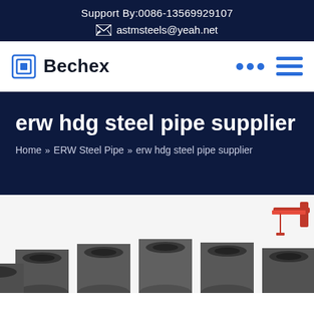Support By:0086-13569929107
astmsteels@yeah.net
Bechex
erw hdg steel pipe supplier
Home » ERW Steel Pipe » erw hdg steel pipe supplier
[Figure (photo): Steel pipes (ERW HDG) stacked together, dark metallic finish, industrial setting with red crane/equipment visible in background top right]